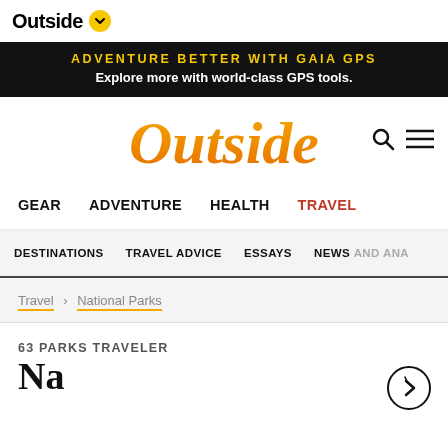Outside
[Figure (infographic): Black banner advertisement: ADVENTURE BETTER WITH GAIA GPS — Explore more with world-class GPS tools.]
[Figure (logo): Outside magazine logo in large gold italic serif font with search and menu icons]
GEAR  ADVENTURE  HEALTH  TRAVEL
DESTINATIONS  TRAVEL ADVICE  ESSAYS  NEWS AND ANA...
Travel > National Parks
63 PARKS TRAVELER